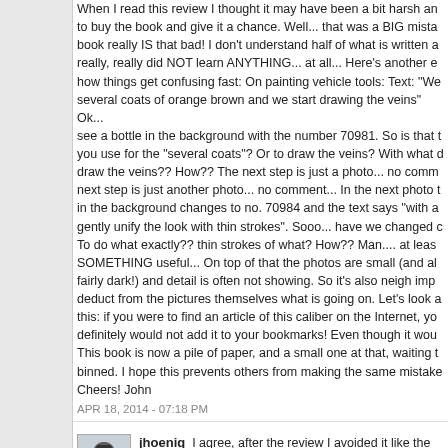When I read this review I thought it may have been a bit harsh and decided to buy the book and give it a chance. Well... that was a BIG mistake! The book really IS that bad! I don't understand half of what is written and I really, really did NOT learn ANYTHING... at all... Here's another example of how things get confusing fast: On painting vehicle tools: Text: "We apply several coats of orange brown and we start drawing the veins" Ok... and I see a bottle in the background with the number 70981. So is that the colour you use for the "several coats"? Or to draw the veins? With what do you draw the veins?? How?? The next step is just a photo... no comment... The next step is just another photo... no comment... In the next photo the bottle in the background changes to no. 70984 and the text says "with a... gently unify the look with thin strokes". Sooo... have we changed colours?? To do what exactly?? thin strokes of what? How?? Man.... at least write SOMETHING useful... On top of that the photos are small (and all look fairly dark!) and detail is often not showing. So it's also neigh impossible to deduct from the pictures themselves what is going on. Let's look at it this: if you were to find an article of this caliber on the Internet, you definitely would not add it to your bookmarks! Even though it would be free. This book is now a pile of paper, and a small one at that, waiting to be binned. I hope this prevents others from making the same mistake. Cheers! John
APR 18, 2014 - 07:18 PM
jhoenig  I agree, after the review I avoided it like the plague. How can a large, usually reputable company put something like this out? Where were the proof readers prior to publication?? How about a "Hey Mike you're in the U.S (or other English country) read this over and tell me what needs to be done prior to publication so all audiences understand" (Seems Vallejo forgot their own audience also)
APR 19, 2014 - 12:35 AM
JohnVK  Yes, indeed! It's beyond me why they didn't do that... an